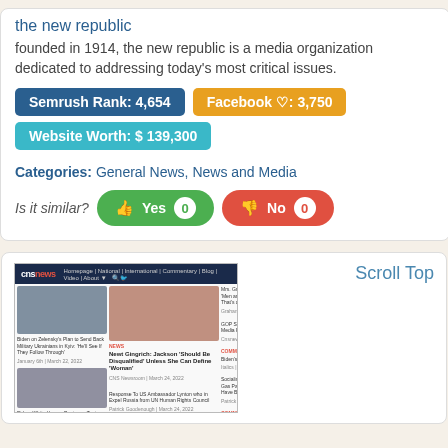the new republic
founded in 1914, the new republic is a media organization dedicated to addressing today’s most critical issues.
Semrush Rank: 4,654
Facebook ♡: 3,750
Website Worth: $ 139,300
Categories: General News, News and Media
Is it similar? Yes 0  No 0
Scroll Top
[Figure (screenshot): Screenshot of cnsnews website homepage showing news articles and navigation bar]